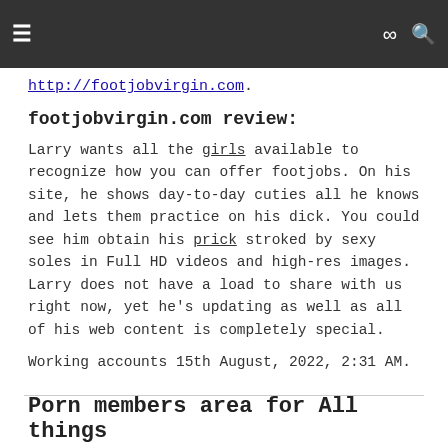≡  ∞  🔍
http://footjobvirgin.com.
footjobvirgin.com review:
Larry wants all the girls available to recognize how you can offer footjobs. On his site, he shows day-to-day cuties all he knows and lets them practice on his dick. You could see him obtain his prick stroked by sexy soles in Full HD videos and high-res images. Larry does not have a load to share with us right now, yet he's updating as well as all of his web content is completely special.
Working accounts 15th August, 2022, 2:31 AM.
Porn members area for All things